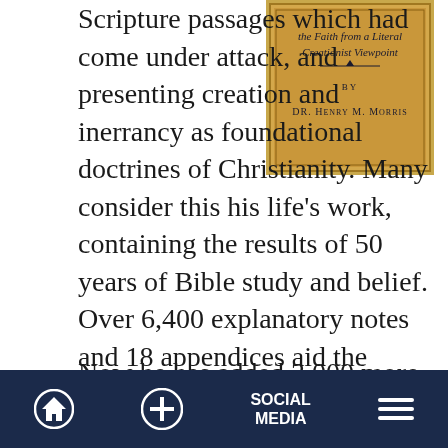Scripture passages which had come under attack, and presenting creation and inerrancy as foundational doctrines of Christianity. Many consider this his life's work, containing the results of 50 years of Bible study and belief. Over 6,400 explanatory notes and 18 appendices aid the reader in understanding even the difficult passages, especially those which deal with the vital doctrine of creation.
[Figure (illustration): Book cover with gold/tan background showing italic text 'the Faith from a Literal Creationist Viewpoint' and 'BY DR. HENRY M. MORRIS' in decorative serif font]
Now he has added 3,000 more notes and
Home  +  SOCIAL MEDIA  Menu